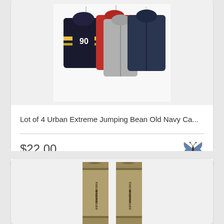[Figure (photo): Photo of four children's hooded zip-up jackets/sweatshirts on hangers against a white background. One black and yellow striped athletic hoodie with '90', one red hoodie, one gray zip-up, and one navy blue hoodie.]
Lot of 4 Urban Extreme Jumping Bean Old Navy Ca...
$22.00
[Figure (photo): Photo of two THORNDIKE BARNHART reference book spines standing upright, brown/tan colored hardcover books with decorative embossing.]